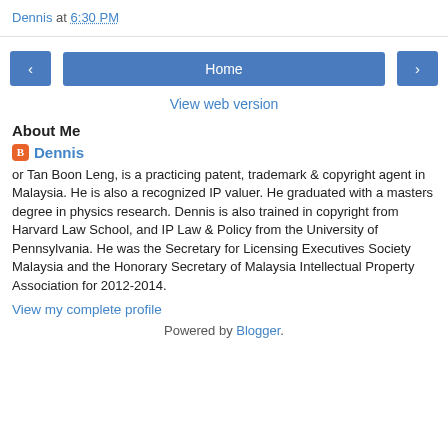Dennis at 6:30 PM
[Figure (other): Navigation bar with left arrow button, Home button, and right arrow button]
View web version
About Me
Dennis
or Tan Boon Leng, is a practicing patent, trademark & copyright agent in Malaysia. He is also a recognized IP valuer. He graduated with a masters degree in physics research. Dennis is also trained in copyright from Harvard Law School, and IP Law & Policy from the University of Pennsylvania. He was the Secretary for Licensing Executives Society Malaysia and the Honorary Secretary of Malaysia Intellectual Property Association for 2012-2014.
View my complete profile
Powered by Blogger.